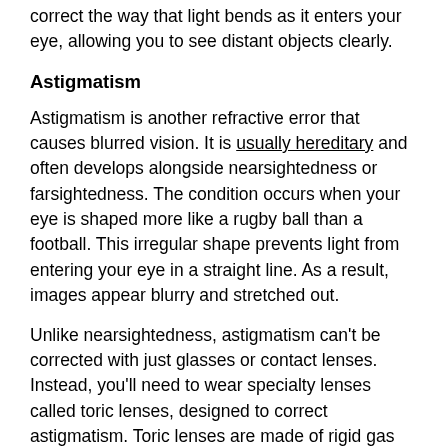correct the way that light bends as it enters your eye, allowing you to see distant objects clearly.
Astigmatism
Astigmatism is another refractive error that causes blurred vision. It is usually hereditary and often develops alongside nearsightedness or farsightedness. The condition occurs when your eye is shaped more like a rugby ball than a football. This irregular shape prevents light from entering your eye in a straight line. As a result, images appear blurry and stretched out.
Unlike nearsightedness, astigmatism can't be corrected with just glasses or contact lenses. Instead, you'll need to wear specialty lenses called toric lenses, designed to correct astigmatism. Toric lenses are made of rigid gas permeable (GP) material or soft contact lens material. They have different powers in different areas to correct the way light bends as it enters your eye. This allows you to see distant and close objects more clearly.
Farsightedness